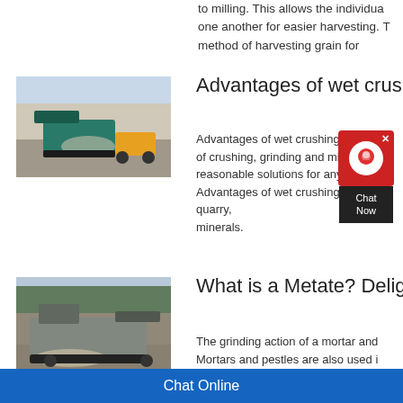to milling. This allows the individual one another for easier harvesting. T method of harvesting grain for
[Figure (photo): Heavy mining crusher machine with teal/blue color working in a quarry with a yellow vehicle nearby]
Advantages of wet crush
Advantages of wet crushing P c of crushing, grinding and min u reasonable solutions for any s e Advantages of wet crushing, quarry, minerals.
[Figure (screenshot): Chat Now widget with red icon box and dark text box]
[Figure (photo): Large mobile crushing machine processing materials in an open quarry site]
What is a Metate? Delig
The grinding action of a mortar and Mortars and pestles are also used i preparation of specific dishes, but fo
Chat Online